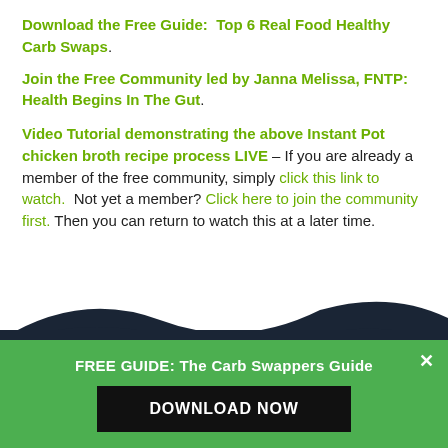Download the Free Guide:  Top 6 Real Food Healthy Carb Swaps.
Join the Free Community led by Janna Melissa, FNTP:  Health Begins In The Gut.
Video Tutorial demonstrating the above Instant Pot chicken broth recipe process LIVE – If you are already a member of the free community, simply click this link to watch.  Not yet a member? Click here to join the community first. Then you can return to watch this at a later time.
[Figure (illustration): Dark wave/hill shape transitioning to a green banner background below]
FREE GUIDE: The Carb Swappers Guide
DOWNLOAD NOW